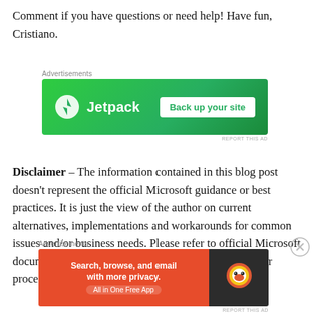Comment if you have questions or need help! Have fun, Cristiano.
[Figure (infographic): Jetpack advertisement banner: green background with Jetpack logo and 'Back up your site' button]
Disclaimer – The information contained in this blog post doesn't represent the official Microsoft guidance or best practices. It is just the view of the author on current alternatives, implementations and workarounds for common issues and/or business needs. Please refer to official Microsoft documentation and evaluate carefully any steps, code or procedures documented herein. The author
[Figure (infographic): DuckDuckGo advertisement: 'Search, browse, and email with more privacy. All in One Free App' on orange background with DuckDuckGo logo on dark background]